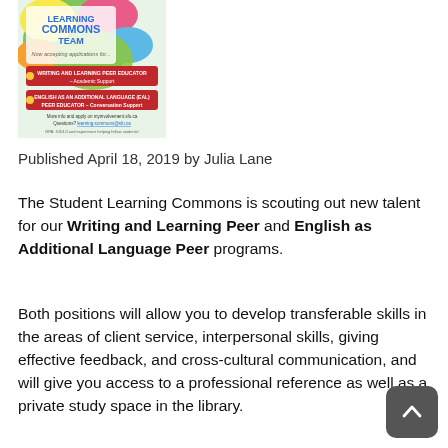[Figure (photo): Learning Commons Team poster with colorful paint splash background, showing job openings for Writing and Learning Peer Educator and English as an Additional Language Peer Educator positions, with application details.]
Published April 18, 2019 by Julia Lane
The Student Learning Commons is scouting out new talent for our Writing and Learning Peer and English as Additional Language Peer programs.
Both positions will allow you to develop transferable skills in the areas of client service, interpersonal skills, giving effective feedback, and cross-cultural communication, and will give you access to a professional reference as well as a private study space in the library.